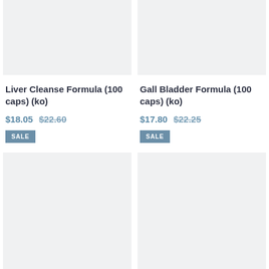[Figure (photo): Product image placeholder, light gray background]
Liver Cleanse Formula (100 caps) (ko)
$18.05  $22.60
SALE
[Figure (photo): Product image placeholder, light gray background]
Gall Bladder Formula (100 caps) (ko)
$17.80  $22.25
SALE
[Figure (photo): Product image placeholder, light gray background, bottom left]
[Figure (photo): Product image placeholder, light gray background, bottom right]